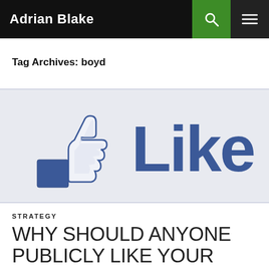Adrian Blake
Tag Archives: boyd
[Figure (illustration): Facebook Like button image with thumbs up icon and the word 'Like' in large blue text on a light blue/grey background]
STRATEGY
WHY SHOULD ANYONE PUBLICLY LIKE YOUR